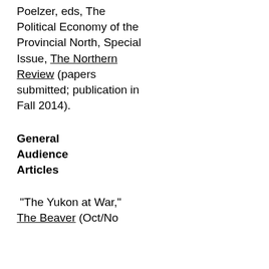Poelzer, eds, The Political Economy of the Provincial North, Special Issue, The Northern Review (papers submitted; publication in Fall 2014).
General Audience Articles
“The Yukon at War,” The Beaver (Oct/No...